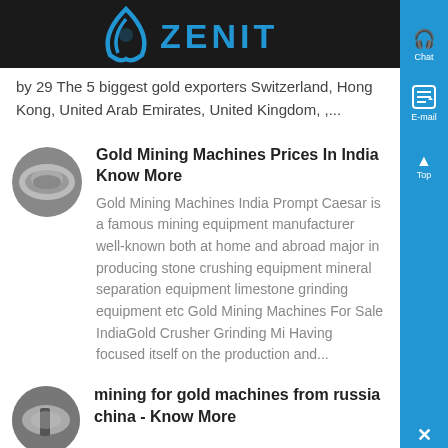ZENIT
by 29 The 5 biggest gold exporters Switzerland, Hong Kong, United Arab Emirates, United Kingdom, ,...
Gold Mining Machines Prices In India Know More
Gold Mining Machines India Prompt Caesar is a famous mining equipment manufacturer well-known both at home and abroad major in producing stone crushing equipment mineral separation equipment limestone grinding equipment etc Gold Mining Machines For Sale IndiaGold Crusher Grinding Mi Having focused itself on the production and...
mining for gold machines from russia china - Know More